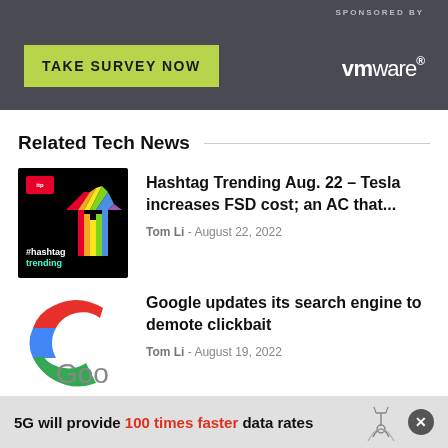[Figure (other): VMware sponsored advertisement banner with 'TAKE SURVEY NOW' green button and VMware logo on dark grey background]
Related Tech News
[Figure (other): Hashtag Trending podcast thumbnail - black background with colorful arrow and #hashtag trending text]
Hashtag Trending Aug. 22 – Tesla increases FSD cost; an AC that...
Tom Li - August 22, 2022
[Figure (other): Google logo partial - red, blue, green colors visible]
Google updates its search engine to demote clickbait
Tom Li - August 19, 2022
5G will provide 100 times faster data rates